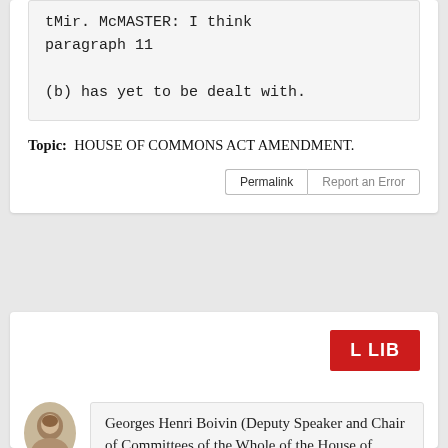tMir. McMASTER: I think paragraph 11

(b) has yet to be dealt with.
Topic: HOUSE OF COMMONS ACT AMENDMENT.
Permalink | Report an Error
L LIB
Georges Henri Boivin (Deputy Speaker and Chair of Committees of the Whole of the House of Commons)
Laurier Liberal